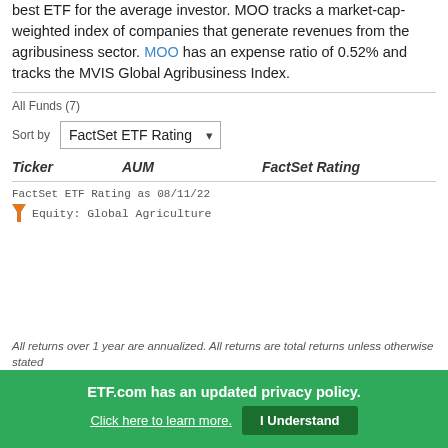best ETF for the average investor. MOO tracks a market-cap-weighted index of companies that generate revenues from the agribusiness sector. MOO has an expense ratio of 0.52% and tracks the MVIS Global Agribusiness Index.
All Funds (7)
Sort by  FactSet ETF Rating
| Ticker | AUM | FactSet Rating |
| --- | --- | --- |
FactSet ETF Rating as 08/11/22
Equity: Global Agriculture
All returns over 1 year are annualized. All returns are total returns unless otherwise stated
ETF.com has an updated privacy policy. Click here to learn more.  I Understand